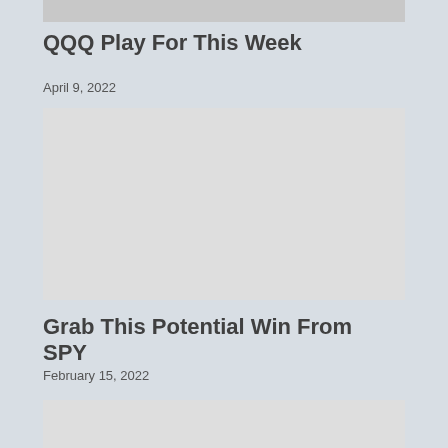[Figure (photo): Partial image visible at top of page, appears to show a keyboard/laptop, cropped]
QQQ Play For This Week
April 9, 2022
[Figure (photo): Gray placeholder image for article about SPY]
Grab This Potential Win From SPY
February 15, 2022
[Figure (photo): Partial gray placeholder image visible at bottom of page]